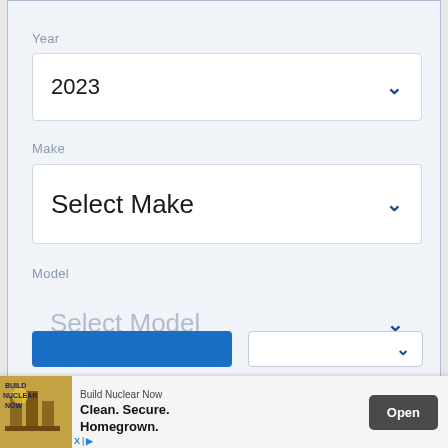Year
2023
Make
Select Make
Model
Select Model
[Figure (screenshot): Advertisement banner: Build Nuclear Now - Clean. Secure. Homegrown. with Open button]